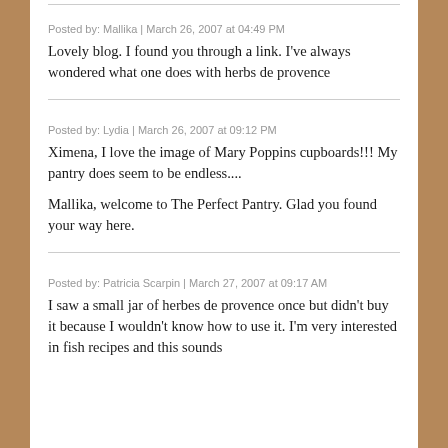Posted by: Mallika | March 26, 2007 at 04:49 PM
Lovely blog. I found you through a link. I've always wondered what one does with herbs de provence
Posted by: Lydia | March 26, 2007 at 09:12 PM
Ximena, I love the image of Mary Poppins cupboards!!! My pantry does seem to be endless....
Mallika, welcome to The Perfect Pantry. Glad you found your way here.
Posted by: Patricia Scarpin | March 27, 2007 at 09:17 AM
I saw a small jar of herbes de provence once but didn't buy it because I wouldn't know how to use it. I'm very interested in fish recipes and this sounds